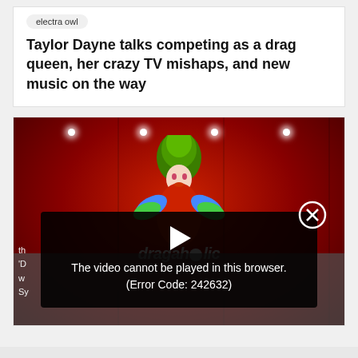electra owl
Taylor Dayne talks competing as a drag queen, her crazy TV mishaps, and new music on the way
[Figure (screenshot): A drag queen with green hair and colorful feathered costume on a red stage background with 'dragaholic' logo overlay, and a video error overlay reading 'The video cannot be played in this browser. (Error Code: 242632)']
th
'D
w
Sy